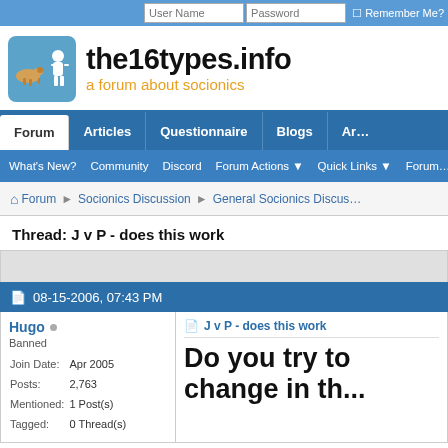User Name | Password | Remember Me?
[Figure (logo): the16types.info logo with blue icon and orange subtitle 'a forum about socionics']
Forum | Articles | Questionnaire | Blogs | Ar...
What's New? | Community | Discord | Forum Actions | Quick Links | Forum...
Forum > Socionics Discussion > General Socionics Discus...
Thread: J v P - does this work
08-15-2006, 07:43 PM
Hugo
Banned
Join Date: Apr 2005
Posts: 2,763
Mentioned: 1 Post(s)
Tagged: 0 Thread(s)
J v P - does this work
Do you try to change in th...